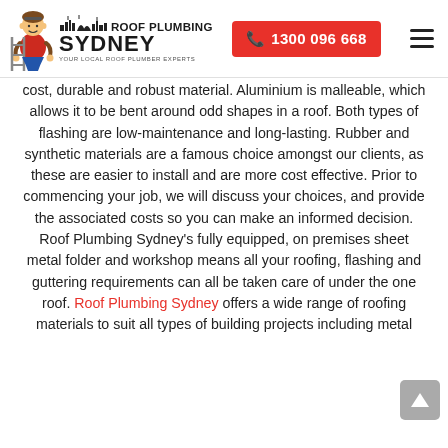Roof Plumbing Sydney — Your Local Roof Plumber Experts | 1300 096 668
cost, durable and robust material. Aluminium is malleable, which allows it to be bent around odd shapes in a roof. Both types of flashing are low-maintenance and long-lasting. Rubber and synthetic materials are a famous choice amongst our clients, as these are easier to install and are more cost effective. Prior to commencing your job, we will discuss your choices, and provide the associated costs so you can make an informed decision. Roof Plumbing Sydney's fully equipped, on premises sheet metal folder and workshop means all your roofing, flashing and guttering requirements can all be taken care of under the one roof. Roof Plumbing Sydney offers a wide range of roofing materials to suit all types of building projects including metal